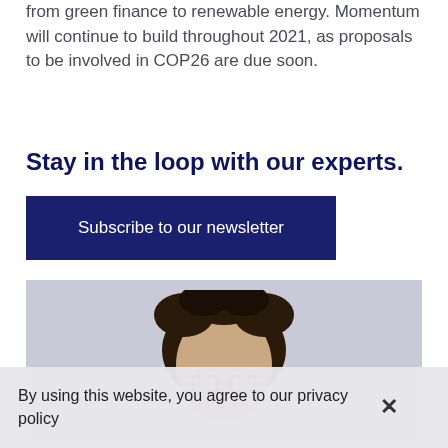from green finance to renewable energy. Momentum will continue to build throughout 2021, as proposals to be involved in COP26 are due soon.
Stay in the loop with our experts.
[Figure (other): Dark navy blue rectangular button labeled 'Subscribe to our newsletter']
[Figure (photo): Portrait photo of a person with curly dark hair and glasses, cropped at the top of the frame, light grey background]
By using this website, you agree to our privacy policy